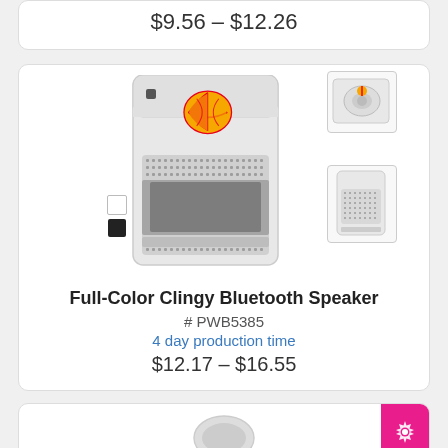$9.56 – $12.26
[Figure (photo): Full-Color Clingy Bluetooth Speaker product photo showing a white rectangular speaker with Shell logo, speaker grille, plus thumbnail views and color swatches]
Full-Color Clingy Bluetooth Speaker
# PWB5385
4 day production time
$12.17 – $16.55